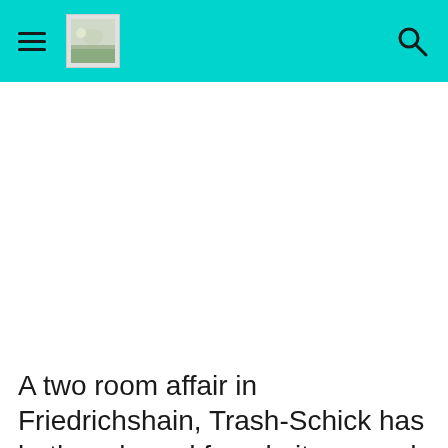[Figure (photo): Large white/blank image area below the teal navigation header, representing a photo placeholder of a room or apartment interior.]
A two room affair in Friedrichshain, Trash-Schick has both male and female items and